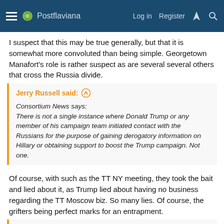Postflaviana  Log in  Register
I suspect that this may be true generally, but that it is somewhat more convoluted than being simple. Georgetown Manafort's role is rather suspect as are several several others that cross the Russia divide.
Jerry Russell said: Consortium News says: There is not a single instance where Donald Trump or any member of his campaign team initiated contact with the Russians for the purpose of gaining derogatory information on Hillary or obtaining support to boost the Trump campaign. Not one.
Of course, with such as the TT NY meeting, they took the bait and lied about it, as Trump lied about having no business regarding the TT Moscow biz. So many lies. Of course, the grifters being perfect marks for an entrapment.
Jerry Russell said: Consortium News says: Simply put, Trump and his campaign...